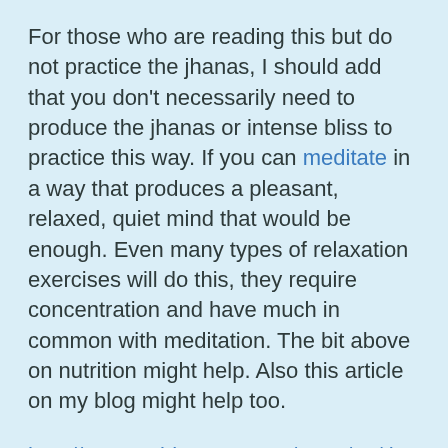For those who are reading this but do not practice the jhanas, I should add that you don't necessarily need to produce the jhanas or intense bliss to practice this way. If you can meditate in a way that produces a pleasant, relaxed, quiet mind that would be enough. Even many types of relaxation exercises will do this, they require concentration and have much in common with meditation. The bit above on nutrition might help. Also this article on my blog might help too.
http://ncu9nc.blogspot.com/2018/04/the-parasympathetic-nervous-system-and.html "Turning Off Stress: The Parasympathetic Nervous System And Spiritual Development"